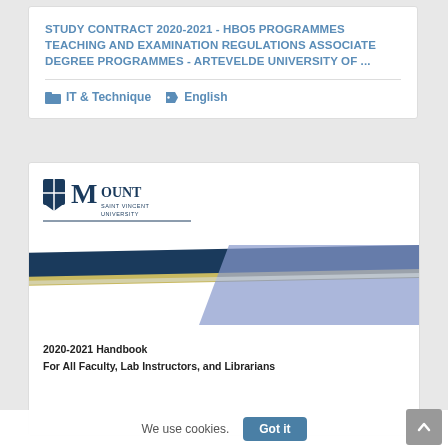STUDY CONTRACT 2020-2021 - HBO5 PROGRAMMES TEACHING AND EXAMINATION REGULATIONS ASSOCIATE DEGREE PROGRAMMES - ARTEVELDE UNIVERSITY OF ...
IT & Technique   English
[Figure (illustration): Mount Saint Vincent University logo and decorative diagonal band graphic (blue, yellow/gold, and lavender/purple diagonal stripes crossing), followed by text '2020-2021 Handbook' and 'For All Faculty, Lab Instructors, and Librarians']
We use cookies.
Got it